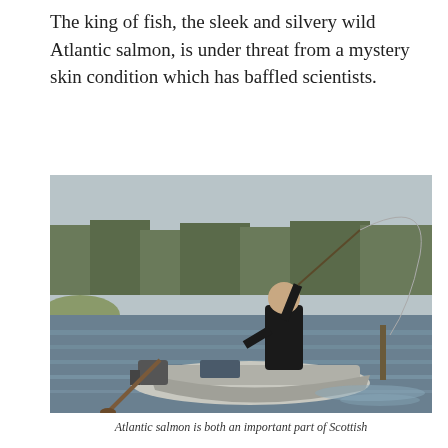The king of fish, the sleek and silvery wild Atlantic salmon, is under threat from a mystery skin condition which has baffled scientists.
[Figure (photo): A man standing in a small motorboat on a river, casting a fishing rod with a long arc of line visible in the air. Trees and riverbank visible in background. Outdoor daylight scene.]
Atlantic salmon is both an important part of Scottish...